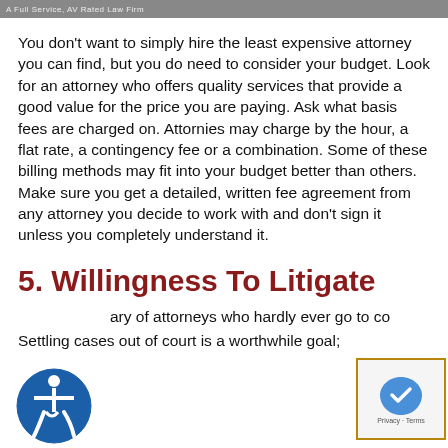A Full Service, AV Rated Law Firm
You don't want to simply hire the least expensive attorney you can find, but you do need to consider your budget. Look for an attorney who offers quality services that provide a good value for the price you are paying. Ask what basis fees are charged on. Attornies may charge by the hour, a flat rate, a contingency fee or a combination. Some of these billing methods may fit into your budget better than others. Make sure you get a detailed, written fee agreement from any attorney you decide to work with and don't sign it unless you completely understand it.
5. Willingness To Litigate
Be wary of attorneys who hardly ever go to court. Settling cases out of court is a worthwhile goal;